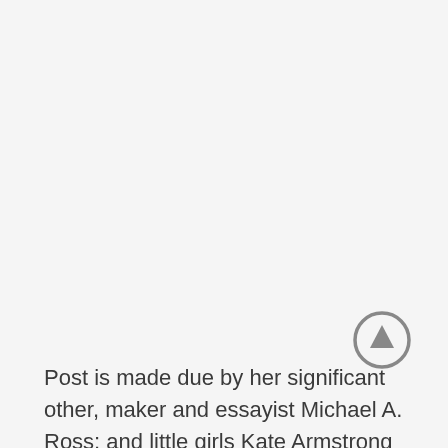[Figure (other): A circular up-arrow button icon with a grey border and grey arrow pointing upward on a light background]
Post is made due by her significant other, maker and essayist Michael A. Ross; and little girls Kate Armstrong Ross and Daisy Schoenborn